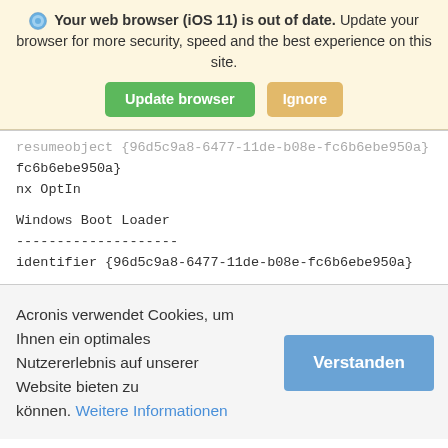Your web browser (iOS 11) is out of date. Update your browser for more security, speed and the best experience on this site. [Update browser] [Ignore]
resumeobject {96d5c9a8-6477-11de-b08e-fc6b6ebe950a}
nx OptIn

Windows Boot Loader
--------------------
identifier {96d5c9a8-6477-11de-b08e-fc6b6ebe950a}
Acronis verwendet Cookies, um Ihnen ein optimales Nutzererlebnis auf unserer Website bieten zu können. Weitere Informationen [Verstanden]